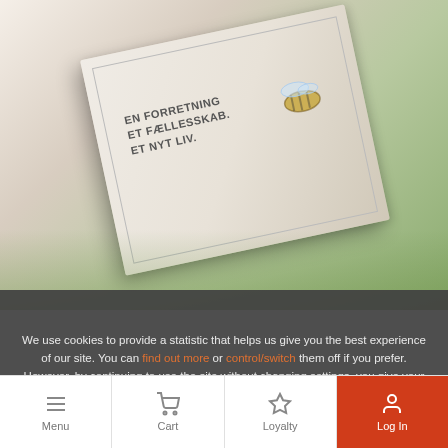[Figure (photo): A booklet/magazine titled 'EN FORRETNING ET FÆLLESSKAB ET NYT LIV' shown at an angle with a bee photo on the cover, set against a blurred natural background.]
We use cookies to provide a statistic that helps us give you the best experience of our site. You can find out more or control/switch them off if you prefer. However, by continuing to use the site without changing settings, you give your informed, free consent to our use of cookies and that you have read and understood our Legal for Users document.
Accept All
Read More
Menu  Cart  Loyalty  Log In